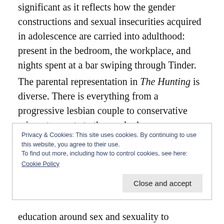...and this relationship proves significant as it reflects how the gender constructions and sexual insecurities acquired in adolescence are carried into adulthood: present in the bedroom, the workplace, and nights spent at a bar swiping through Tinder.
The parental representation in The Hunting is diverse. There is everything from a progressive lesbian couple to conservative migrant parents to those who have a grave disconnect from the
Privacy & Cookies: This site uses cookies. By continuing to use this website, you agree to their use.
To find out more, including how to control cookies, see here:
Cookie Policy
Close and accept
education around sex and sexuality to